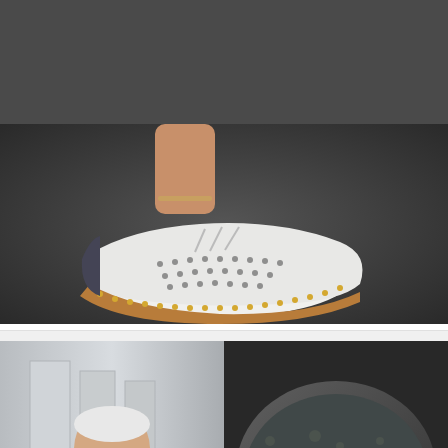[Figure (photo): Close-up photo of a person's feet wearing white casual sneakers/espadrilles with perforated design, tan rope sole trim, on a dark pavement background]
The Sneakers for Standing All Day Without Discomfort
Zekear | Sponsored
[Figure (photo): Composite image: left side shows an older man in a beige suit and glasses pointing at something; right side shows a banana being cooked in a frying pan with tongs]